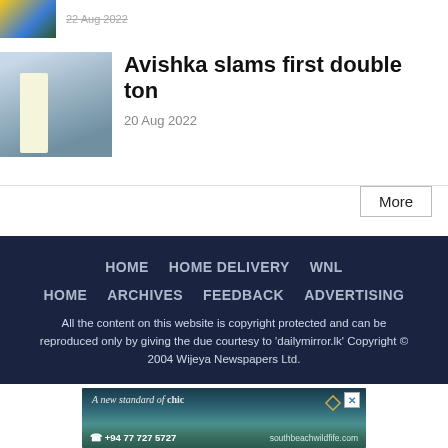[Figure (photo): Partial thumbnail of a cricket or sports related image with yellow and blue colors]
22 Aug 2022
[Figure (photo): Cricket player in white walking with bat on field]
Avishka slams first double ton
20 Aug 2022
More
HOME   HOME DELIVERY   WNL   HOME   ARCHIVES   FEEDBACK   ADVERTISING

All the content on this website is copyright protected and can be reproduced only by giving the due courtesy to 'dailymirror.lk' Copyright © 2004 Wijeya Newspapers Ltd.
[Figure (photo): Advertisement banner: A new standard of chic. Outdoor furniture/pool setting. Phone: +94 77 727 5727. Website: southbeachwildfife.com]